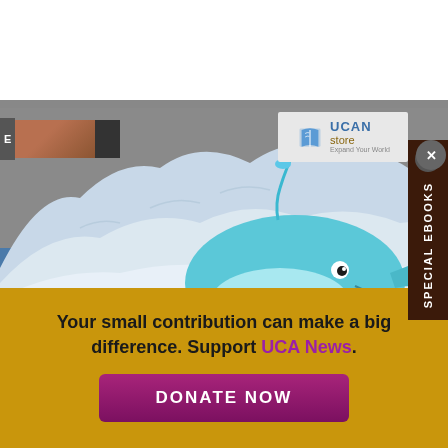[Figure (screenshot): Screenshot of UCA News website showing a UCAN Store badge, a sidebar panel with 'SPECIAL EBOOKS' label in brown vertical bar, and an iceberg/ocean painting with a cartoon teal whale illustration overlaid. Bottom left shows a thumbnail with label 'E'.]
Your small contribution can make a big difference. Support UCA News.
DONATE NOW